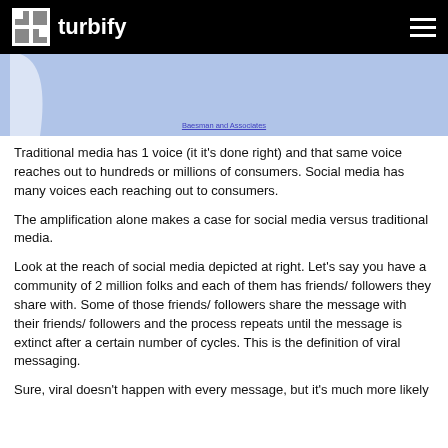turbify
[Figure (illustration): Blue banner/hero image with a white swooping shape on the left and a centered text link 'Baesman and Associates' in blue underlined text at the bottom]
Baesman and Associates
Traditional media has 1 voice (it it's done right) and that same voice reaches out to hundreds or millions of consumers. Social media has many voices each reaching out to consumers.
The amplification alone makes a case for social media versus traditional media.
Look at the reach of social media depicted at right. Let's say you have a community of 2 million folks and each of them has friends/ followers they share with. Some of those friends/ followers share the message with their friends/ followers and the process repeats until the message is extinct after a certain number of cycles. This is the definition of viral messaging.
Sure, viral doesn't happen with every message, but it's much more likely